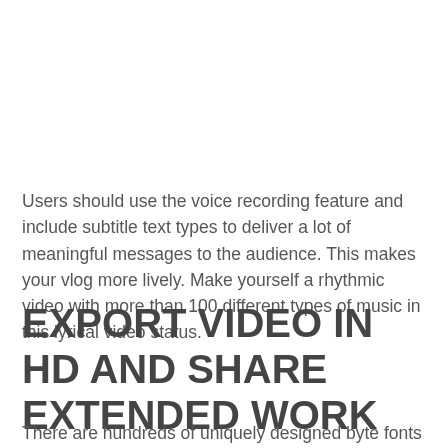Users should use the voice recording feature and include subtitle text types to deliver a lot of meaningful messages to the audience. This makes your vlog more lively. Make yourself a rhythmic video with more than 100 different types of music in this lyrical video status.
EXPORT VIDEO IN HD AND SHARE EXTENDED WORK
There are hundreds of uniquely designed byte fonts that you